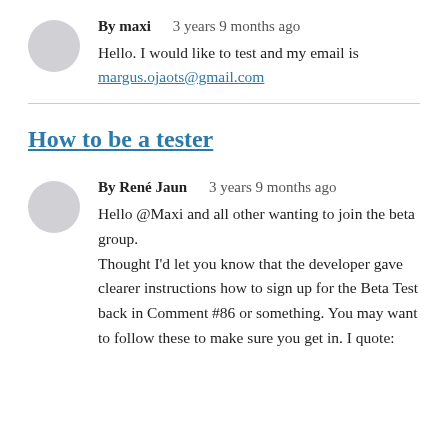By maxi   3 years 9 months ago
Hello. I would like to test and my email is
margus.ojaots@gmail.com
How to be a tester
By René Jaun   3 years 9 months ago
Hello @Maxi and all other wanting to join the beta group.
Thought I'd let you know that the developer gave clearer instructions how to sign up for the Beta Test back in Comment #86 or something. You may want to follow these to make sure you get in. I quote: